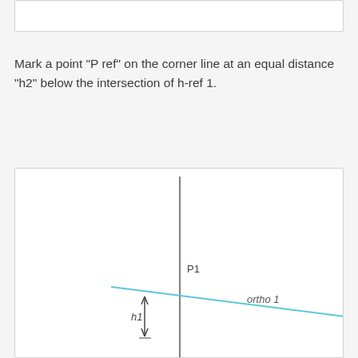[Figure (other): Top partial image box, mostly white/blank, cropped from previous page content]
Mark a point "P ref" on the corner line at an equal distance "h2" below the intersection of h-ref 1.
[Figure (engineering-diagram): Engineering diagram showing a vertical gray line (corner line) intersecting with a diagonal light blue line labeled 'ortho 1'. Point P1 is marked at the intersection. Below P1 on the vertical line, a vertical double-headed arrow is labeled 'h1'. The diagram shows reference points and lines used in a corner construction method.]